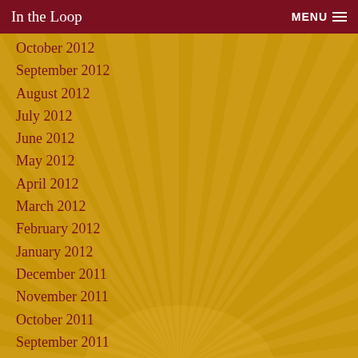In the Loop   MENU
October 2012
September 2012
August 2012
July 2012
June 2012
May 2012
April 2012
March 2012
February 2012
January 2012
December 2011
November 2011
October 2011
September 2011
August 2011
July 2011